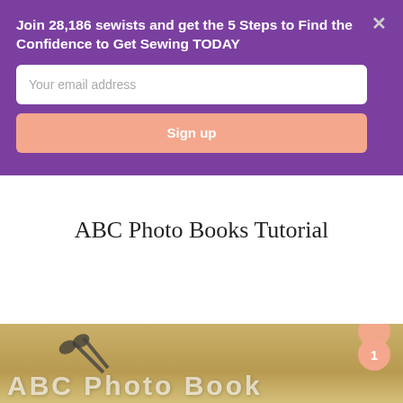Join 28,186 sewists and get the 5 Steps to Find the Confidence to Get Sewing TODAY
Your email address
Sign up
ABC Photo Books Tutorial
[Figure (photo): Partial photo showing ABC Photo Books with scissors on a wooden background, with white handwritten-style text overlay reading 'ABC Photo Book']